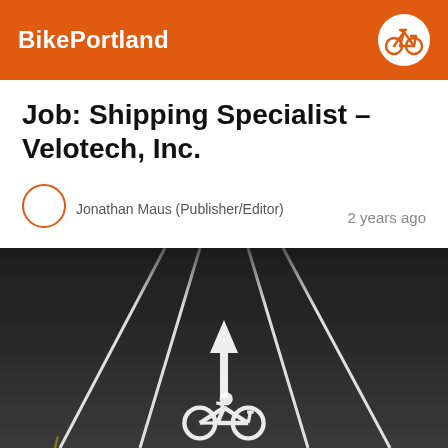BikePortland
Job: Shipping Specialist – Velotech, Inc.
Jonathan Maus (Publisher/Editor)   2 years ago
[Figure (photo): Aerial view of a dark asphalt road with white painted bike lane markings — directional arrow pointing up and a bicycle symbol painted on the road surface, flanked by lane dividing lines.]